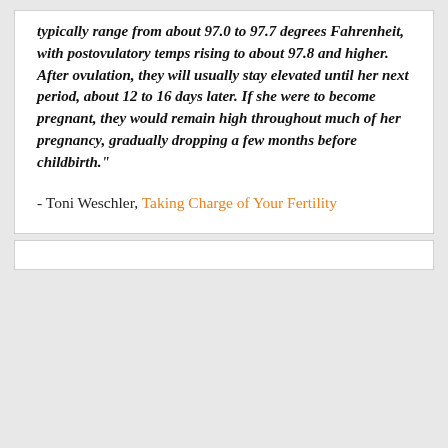typically range from about 97.0 to 97.7 degrees Fahrenheit, with postovulatory temps rising to about 97.8 and higher. After ovulation, they will usually stay elevated until her next period, about 12 to 16 days later. If she were to become pregnant, they would remain high throughout much of her pregnancy, gradually dropping a few months before childbirth."
- Toni Weschler, Taking Charge of Your Fertility